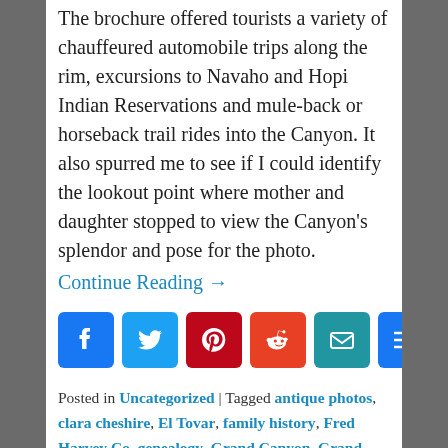The brochure offered tourists a variety of chauffeured automobile trips along the rim, excursions to Navaho and Hopi Indian Reservations and mule-back or horseback trail rides into the Canyon. It also spurred me to see if I could identify the lookout point where mother and daughter stopped to view the Canyon's splendor and pose for the photo.
Continue Reading →
[Figure (infographic): Social share buttons: Facebook, Twitter, Pinterest, Reddit, Email, More]
Posted in Uncategorized | Tagged antique photos, clara cheshire, El Tovar, family history, Fred Harvey Co, genealogy, Grand Canyon, Grand Canyon history, history detective, National Park Service, Santa Fe Railway, south rim, ursula cheshire, Yavapai Point | 8 Comments ↓